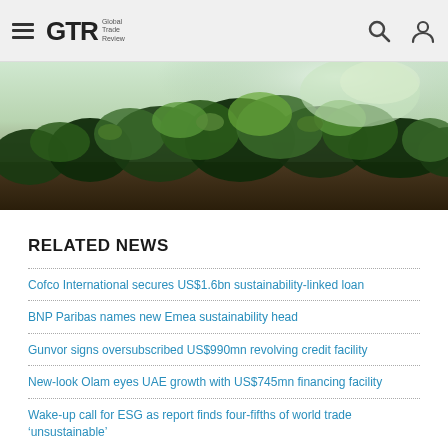GTR Global Trade Review
[Figure (photo): Close-up landscape photo of lush green moss and vegetation on dark soil, viewed from a low angle against a bright background]
RELATED NEWS
Cofco International secures US$1.6bn sustainability-linked loan
BNP Paribas names new Emea sustainability head
Gunvor signs oversubscribed US$990mn revolving credit facility
New-look Olam eyes UAE growth with US$745mn financing facility
Wake-up call for ESG as report finds four-fifths of world trade 'unsustainable'